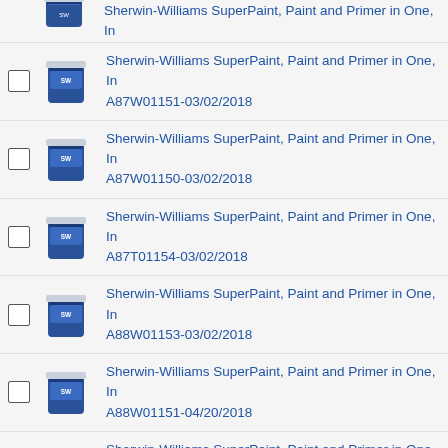Sherwin-Williams SuperPaint, Paint and Primer in One, In... (partial top)
Sherwin-Williams SuperPaint, Paint and Primer in One, In A87W01151-03/02/2018
Sherwin-Williams SuperPaint, Paint and Primer in One, In A87W01150-03/02/2018
Sherwin-Williams SuperPaint, Paint and Primer in One, In A87T01154-03/02/2018
Sherwin-Williams SuperPaint, Paint and Primer in One, In A88W01153-03/02/2018
Sherwin-Williams SuperPaint, Paint and Primer in One, In A88W01151-04/20/2018
Sherwin-Williams SuperPaint, Paint and Primer in One, In White, A88W01150-03/02/2018
Sherwin-Williams SuperPaint, Paint and Primer in One, In A88T01154-03/02/2018
Sherwin-Williams SuperPaint, Paint and Primer in One, (partial bottom)